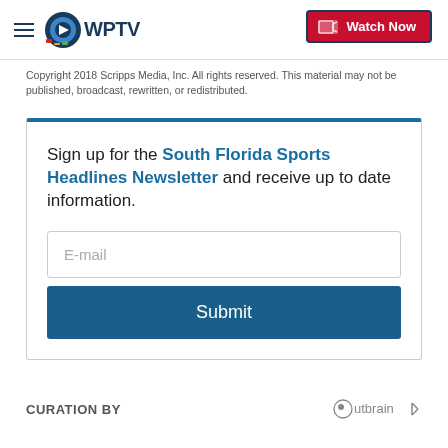WPTV — Watch Now
Copyright 2018 Scripps Media, Inc. All rights reserved. This material may not be published, broadcast, rewritten, or redistributed.
Sign up for the South Florida Sports Headlines Newsletter and receive up to date information.
CURATION BY — Outbrain